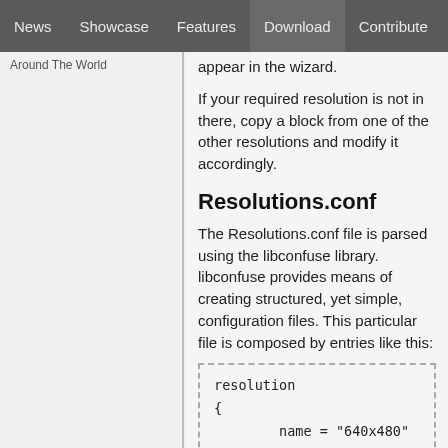News | Showcase | Features | Download | Contribute | Support
Around The World
appear in the wizard.
If your required resolution is not in there, copy a block from one of the other resolutions and modify it accordingly.
Resolutions.conf
The Resolutions.conf file is parsed using the libconfuse library. libconfuse provides means of creating structured, yet simple, configuration files. This particular file is composed by entries like this:
resolution
{
        name = "640x480"
        width = 640
        height = 480
        aspect_ratio = "4:3
        modeline
        {